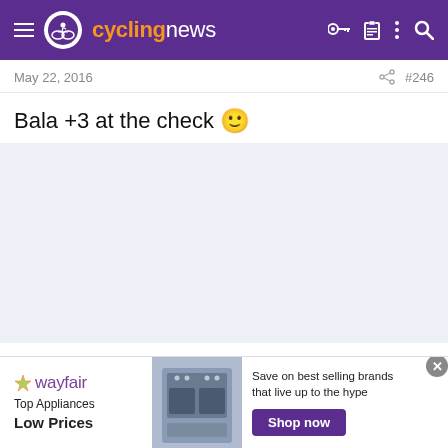cyclingnews
May 22, 2016   #246
Bala +3 at the check 🙂
[Figure (illustration): Light blue-grey empty content area placeholder]
[Figure (illustration): Wayfair advertisement banner: Top Appliances Low Prices, Save on best selling brands that live up to the hype, Shop now button, appliance image]